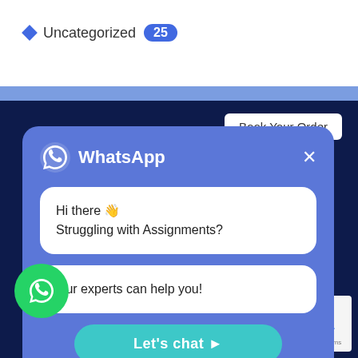Uncategorized 25
Book Your Order
[Figure (screenshot): WhatsApp chat popup with message 'Hi there 👋 Struggling with Assignments? Our experts can help you!' and a 'Let's chat ➤' button]
DISCLAIMER
You agree that the papers written by BookMyEssay.com
[Figure (logo): reCAPTCHA badge with Privacy and Terms links]